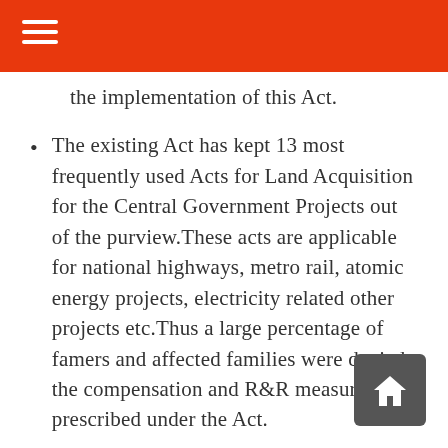the implementation of this Act.
The existing Act has kept 13 most frequently used Acts for Land Acquisition for the Central Government Projects out of the purview. These acts are applicable for national highways, metro rail, atomic energy projects, electricity related other projects etc. Thus a large percentage of famers and affected families were denied the compensation and R&R measures prescribed under the Act.